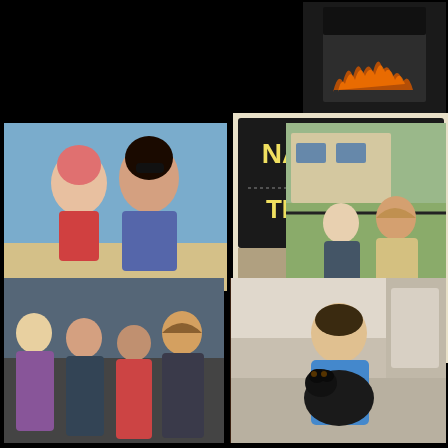[Figure (photo): Dark photo showing a person wearing a black shirt with orange flame design, top right corner]
[Figure (photo): Roy and Roy Orbison Jr kissing at the beach - two people kissing outdoors, one wearing a pink/red swim cap]
[Figure (photo): Nashville Film Festival Thompson Nashville sign with two people (man with long hair and woman) posing in front of it]
[Figure (photo): Two people sitting outdoors, a woman and a man with long hair, in front of a building with greenery]
Roy and Roy Orbison Jr kissing at the beach
[Figure (photo): Group of four people posing together indoors, including women and a man with long hair]
[Figure (photo): Group of people gathered together in a dimly lit restaurant or bar setting]
[Figure (photo): Man in blue shirt sitting on stairs holding a black dog]